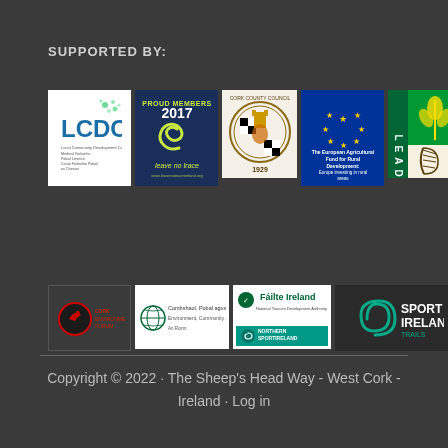SUPPORTED BY:
[Figure (logo): LCDC - Local Community Development Committee logo, white background with teal text and green dots]
[Figure (logo): Proud Members 2017 Leave No Trace logo, navy background with yellow-green swirl and text]
[Figure (logo): Cork County Council seal/crest logo]
[Figure (logo): European Agricultural Fund for Rural Development - EU flag stars on blue background with text]
[Figure (logo): LEADER programme logo, green and white with wheat/leaf icon]
[Figure (logo): Red bird/organization logo on dark background]
[Figure (logo): Community, Fáilte and Tíoltas Áitiúil logo with green globe icon]
[Figure (logo): Fáilte Ireland logo with teal Northern SportIreland banner]
[Figure (logo): Sport Ireland Trails logo with teal spiral and white text]
Copyright © 2022 · The Sheep's Head Way - West Cork - Ireland · Log in